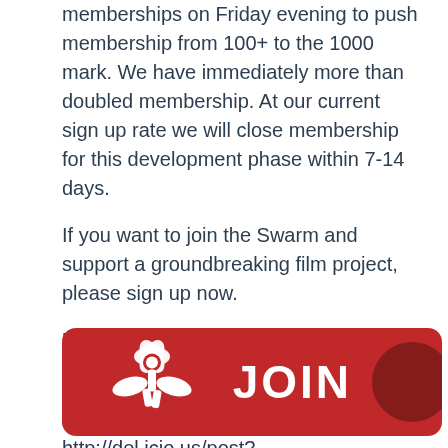memberships on Friday evening to push membership from 100+ to the 1000 mark. We have immediately more than doubled membership. At our current sign up rate we will close membership for this development phase within 7-14 days.
If you want to join the Swarm and support a groundbreaking film project, please sign up now.
http://www.aswarmofangels.com/
http://www.aswarmofangels.com/join/
Please post to del.icio.us:
http://del.icio.us/post?url=http://www.aswarmofangels.com/
[Figure (illustration): Red rounded rectangle card with white angel/flower logo on the left and white bold 'JOIN' text on the right, with a dark red circle element on the far right edge.]